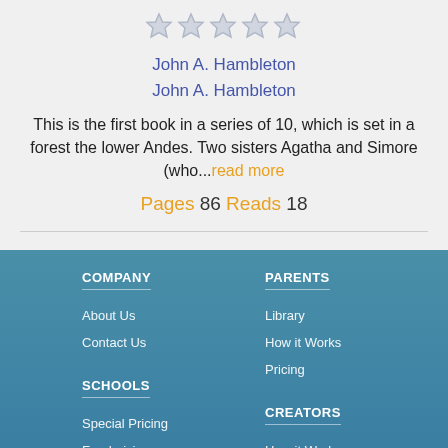[Figure (other): Five grey star rating icons in a row]
John A. Hambleton
John A. Hambleton
This is the first book in a series of 10, which is set in a forest the lower Andes. Two sisters Agatha and Simore (who...read more
Pages 86 Reads 18
COMPANY
PARENTS
About Us
Contact Us
Library
How it Works
Pricing
SCHOOLS
CREATORS
Special Pricing
Fundraising
How it Works
Authors & Illustrators
Publishers